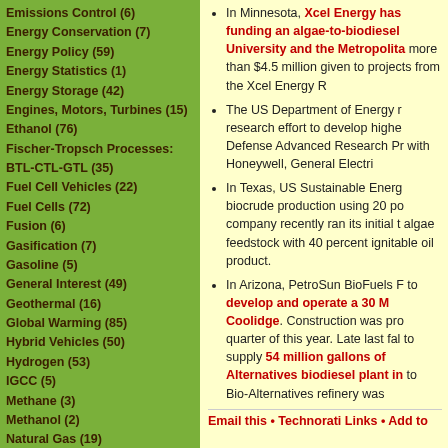Emissions Control (6)
Energy Conservation (7)
Energy Policy (59)
Energy Statistics (1)
Energy Storage (42)
Engines, Motors, Turbines (15)
Ethanol (76)
Fischer-Tropsch Processes: BTL-CTL-GTL (35)
Fuel Cell Vehicles (22)
Fuel Cells (72)
Fusion (6)
Gasification (7)
Gasoline (5)
General Interest (49)
Geothermal (16)
Global Warming (85)
Hybrid Vehicles (50)
Hydrogen (53)
IGCC (5)
Methane (3)
Methanol (2)
Natural Gas (19)
In Minnesota, Xcel Energy has funding an algae-to-biodiesel University and the Metropolita more than $4.5 million given to projects from the Xcel Energy R
The US Department of Energy r research effort to develop highe Defense Advanced Research Pr with Honeywell, General Electri
In Texas, US Sustainable Energ biocrude production using 20 po company recently ran its initial t algae feedstock with 40 percent ignitable oil product.
In Arizona, PetroSun BioFuels F to develop and operate a 30 M Coolidge. Construction was pro quarter of this year. Late last fal to supply 54 million gallons of Alternatives biodiesel plant in to Bio-Alternatives refinery was
Email this • Technorati Links • Add to